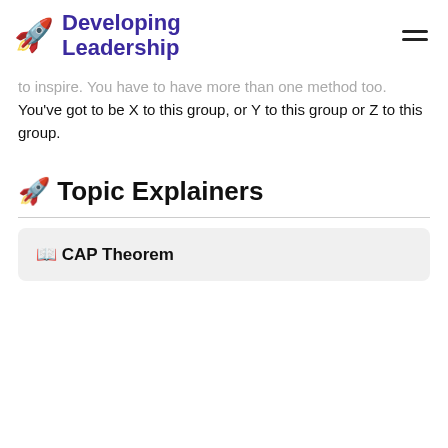Developing Leadership
to inspire. You have to have more than one method too. You've got to be X to this group, or Y to this group or Z to this group.
🚀 Topic Explainers
📖 CAP Theorem